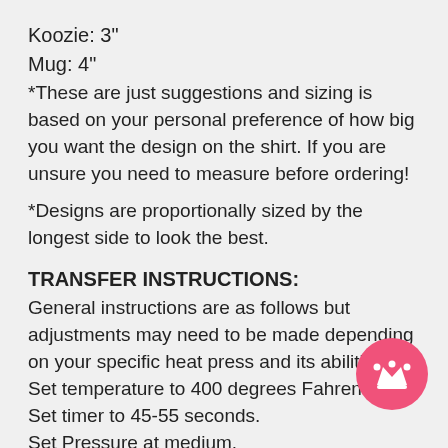Koozie: 3"
Mug: 4"
*These are just suggestions and sizing is based on your personal preference of how big you want the design on the shirt. If you are unsure you need to measure before ordering!
*Designs are proportionally sized by the longest side to look the best.
TRANSFER INSTRUCTIONS:
General instructions are as follows but adjustments may need to be made depending on your specific heat press and its abilities. Set temperature to 400 degrees Fahrenheit. Set timer to 45-55 seconds. Set Pressure at medium.
[Figure (illustration): Pink circular badge with a crown icon in the bottom right corner of the page]